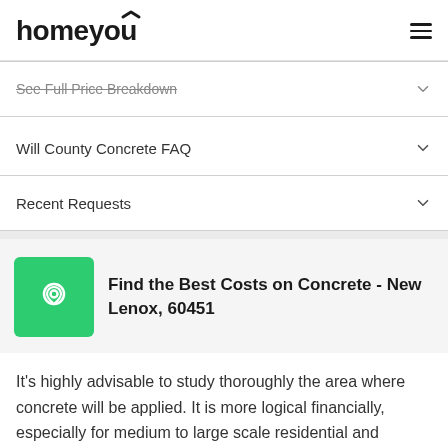homeyou
See Full Price Breakdown
Will County Concrete FAQ
Recent Requests
Find the Best Costs on Concrete - New Lenox, 60451
It's highly advisable to study thoroughly the area where concrete will be applied. It is more logical financially, especially for medium to large scale residential and commercial concrete jobs, to utilize the service wisely. It is more cost effective to include other areas of the place